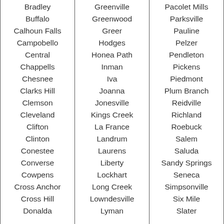| Bradley | Greenville | Pacolet Mills |
| Buffalo | Greenwood | Parksville |
| Calhoun Falls | Greer | Pauline |
| Campobello | Hodges | Pelzer |
| Central | Honea Path | Pendleton |
| Chappells | Inman | Pickens |
| Chesnee | Iva | Piedmont |
| Clarks Hill | Joanna | Plum Branch |
| Clemson | Jonesville | Reidville |
| Cleveland | Kings Creek | Richland |
| Clifton | La France | Roebuck |
| Clinton | Landrum | Salem |
| Conestee | Laurens | Saluda |
| Converse | Liberty | Sandy Springs |
| Cowpens | Lockhart | Seneca |
| Cross Anchor | Long Creek | Simpsonville |
| Cross Hill | Lowndesville | Six Mile |
| Donalda | Lyman | Slater |